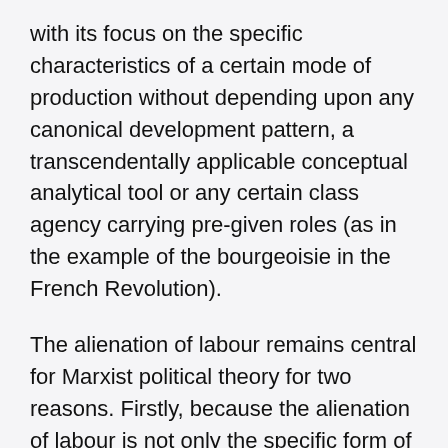with its focus on the specific characteristics of a certain mode of production without depending upon any canonical development pattern, a transcendentally applicable conceptual analytical tool or any certain class agency carrying pre-given roles (as in the example of the bourgeoisie in the French Revolution).
The alienation of labour remains central for Marxist political theory for two reasons. Firstly, because the alienation of labour is not only the specific form of capitalist class exploitation but it is rather it is the general form of class exploitation through social property relations under capitalism. Secondly, the alienation of labour is not a naturally necessary condition of production. Rather it is a result of the historical necessity of private